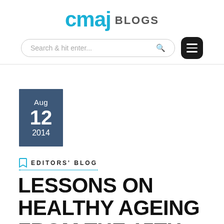cmaj BLOGS
[Figure (screenshot): Search bar with placeholder text 'Search & hit enter...' and a search icon, alongside a dark rounded menu button with three horizontal lines]
Aug 12 2014
EDITORS' BLOG
LESSONS ON HEALTHY AGEING FROM THE 15TH FINA